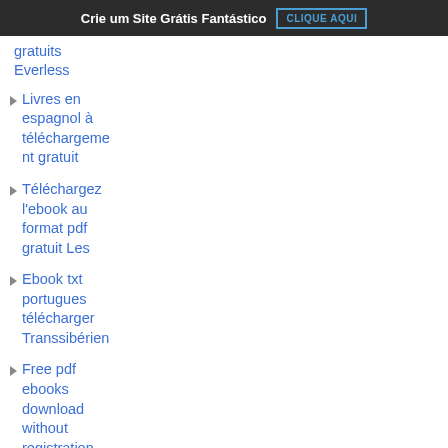Crie um Site Grátis Fantástico  CLIQUE AQUI
gratuits
Everless
Livres en espagnol à téléchargement gratuit
Téléchargez l'ebook au format pdf gratuit Les
Ebook txt portugues télécharger Transsibérien
Free pdf ebooks download without registration
Free audio motivational books